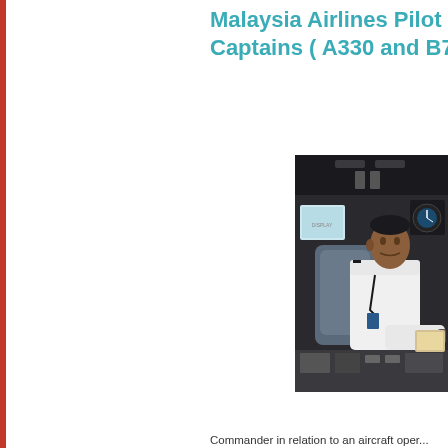Malaysia Airlines Pilot R... Captains ( A330 and B73...
[Figure (photo): Pilot seated in aircraft cockpit, in white short-sleeve uniform, operating flight deck controls and displays.]
Commander in relation to an aircraft oper...